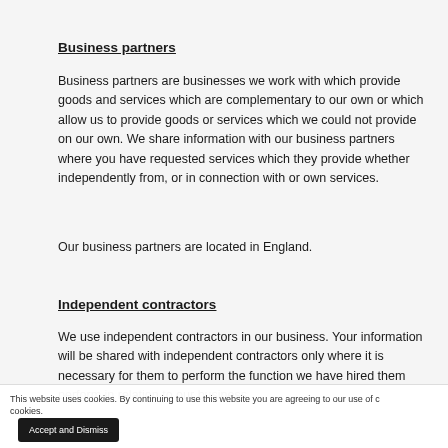Business partners
Business partners are businesses we work with which provide goods and services which are complementary to our own or which allow us to provide goods or services which we could not provide on our own. We share information with our business partners where you have requested services which they provide whether independently from, or in connection with or own services.
Our business partners are located in England.
Independent contractors
We use independent contractors in our business. Your information will be shared with independent contractors only where it is necessary for them to perform the function we have hired them perform in relation to our business.
This website uses cookies. By continuing to use this website you are agreeing to our use of cookies.